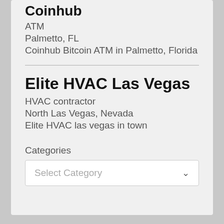Coinhub
ATM
Palmetto, FL
Coinhub Bitcoin ATM in Palmetto, Florida
Elite HVAC Las Vegas
HVAC contractor
North Las Vegas, Nevada
Elite HVAC las vegas in town
Categories
Select Category